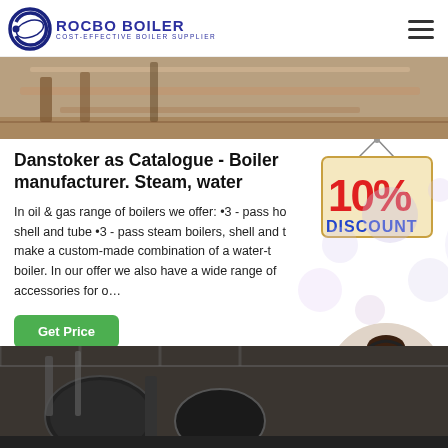ROCBO BOILER — COST-EFFECTIVE BOILER SUPPLIER
[Figure (photo): Top banner photo showing boiler/industrial equipment interior]
Danstoker as Catalogue - Boiler manufacturer. Steam, water
In oil & gas range of boilers we offer: •3 - pass hot shell and tube •3 - pass steam boilers, shell and t... make a custom-made combination of a water-t... boiler. In our offer we also have a wide range of accessories for o...
[Figure (infographic): 10% DISCOUNT badge/sign hanging from strings]
[Figure (photo): Customer service representative wearing headset, smiling]
[Figure (photo): Bottom banner photo showing industrial boiler facility interior]